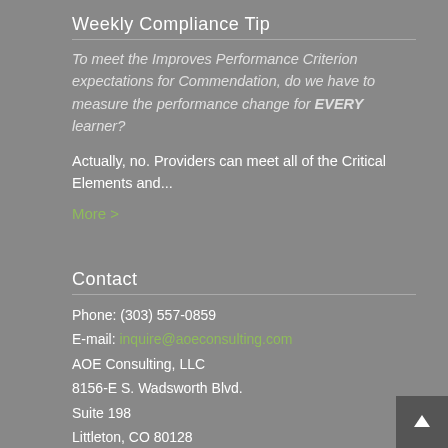Weekly Compliance Tip
To meet the Improves Performance Criterion expectations for Commendation, do we have to measure the performance change for EVERY learner?
Actually, no. Providers can meet all of the Critical Elements and...
More >
Contact
Phone: (303) 557-0859
E-mail: inquire@aoeconsulting.com
AOE Consulting, LLC
8156-E S. Wadsworth Blvd.
Suite 198
Littleton, CO 80128